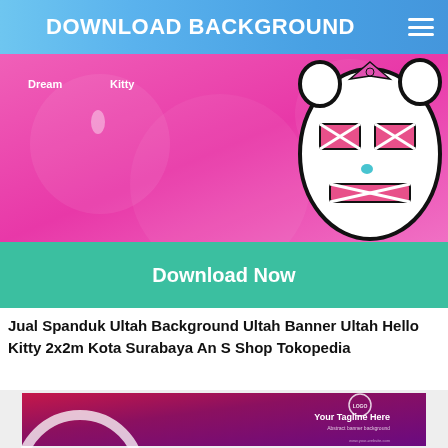DOWNLOAD BACKGROUND
[Figure (illustration): Hello Kitty themed pink banner with Dream and Kitty labels, cartoon character visible on right side]
[Figure (screenshot): Download Now button on teal/green background]
Jual Spanduk Ultah Background Ultah Banner Ultah Hello Kitty 2x2m Kota Surabaya An S Shop Tokopedia
[Figure (illustration): Abstract banner background with pink/purple gradient, white curve arc, logo placeholder circle, Your Tagline Here text, Abstract banner background subtitle, and www.your-website.com text]